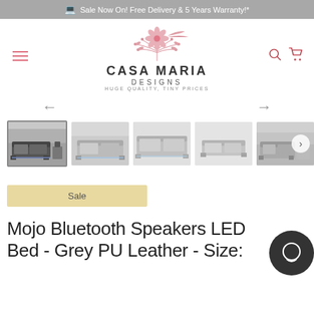Sale Now On! Free Delivery & 5 Years Warranty!*
[Figure (logo): Casa Maria Designs logo with floral decoration, tagline HUGE QUALITY, TINY PRICES]
[Figure (photo): Product thumbnail gallery showing 5 images of the Mojo Bluetooth Speakers LED Bed in Grey PU Leather]
Sale
Mojo Bluetooth Speakers LED Bed - Grey PU Leather - Size: